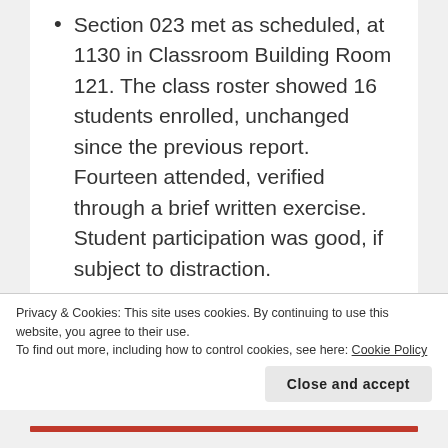Section 023 met as scheduled, at 1130 in Classroom Building Room 121. The class roster showed 16 students enrolled, unchanged since the previous report. Fourteen attended, verified through a brief written exercise. Student participation was good, if subject to distraction.
Section 040 met as scheduled, at 0830 in Morrill Hall Room 206. The class roster showed 15 students enrolled, unchanged since the previous report. Ten attended, verified informally. Student participation was reasonably good.
Privacy & Cookies: This site uses cookies. By continuing to use this website, you agree to their use. To find out more, including how to control cookies, see here: Cookie Policy